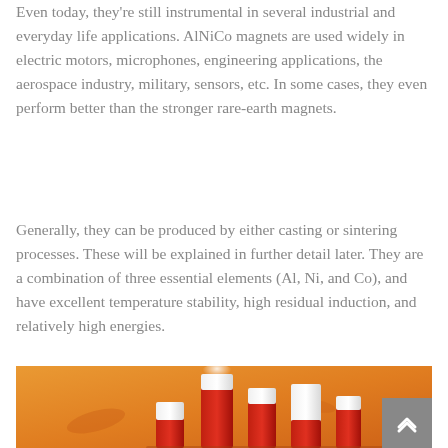Even today, they're still instrumental in several industrial and everyday life applications. AlNiCo magnets are used widely in electric motors, microphones, engineering applications, the aerospace industry, military, sensors, etc. In some cases, they even perform better than the stronger rare-earth magnets.
Generally, they can be produced by either casting or sintering processes. These will be explained in further detail later. They are a combination of three essential elements (Al, Ni, and Co), and have excellent temperature stability, high residual induction, and relatively high energies.
[Figure (photo): Photo of AlNiCo magnet bar pieces on an orange background, showing red and white segmented cylindrical/rectangular magnets of varying heights arranged together.]